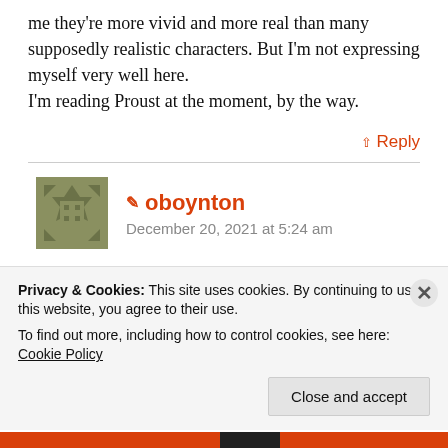me they're more vivid and more real than many supposedly realistic characters. But I'm not expressing myself very well here.
I'm reading Proust at the moment, by the way.
↑ Reply
✏ oboynton
December 20, 2021 at 5:24 am
Thanks for leaving a comment. I didn't mean for that to come across as quite as negative as I
Privacy & Cookies: This site uses cookies. By continuing to use this website, you agree to their use.
To find out more, including how to control cookies, see here: Cookie Policy
Close and accept